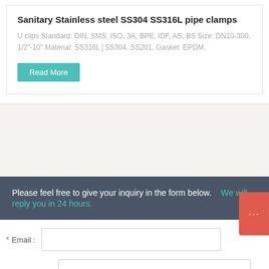Sanitary Stainless steel SS304 SS316L pipe clamps
U clips Standard: DIN, SMS, ISO, 3A, BPE, IDF, AS, BS Size: DN10-300, 1/2"-10" Material: SS316L│SS304, SS201, Gasket: EPDM,
Read More
Please feel free to give your inquiry in the form below. We will reply you in 24 hours.
Email :
Company :